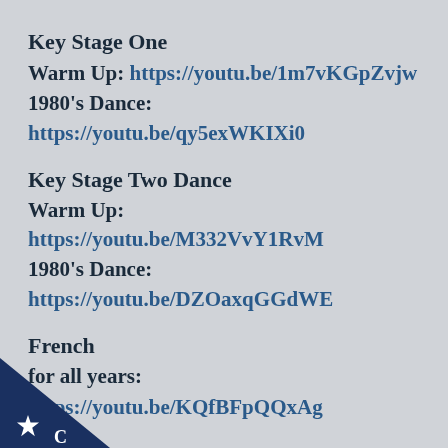Key Stage One
Warm Up: https://youtu.be/1m7vKGpZvjw
1980's Dance:
https://youtu.be/qy5exWKIXi0
Key Stage Two Dance
Warm Up: https://youtu.be/M332VvY1RvM
1980's Dance:
https://youtu.be/DZOaxqGGdWE
French
for all years:
https://youtu.be/KQfBFpQQxAg